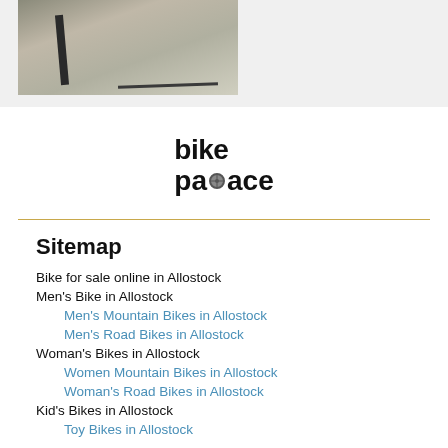[Figure (photo): Partial photo of a bicycle on a road, showing the bike frame/fork, on a grey background section at top of page]
[Figure (logo): Bike Palace logo — stylized text reading 'bike' on top line and 'palace' on second line, with a small bicycle wheel icon integrated into the word 'palace' between 'pal' and 'ace', black bold sans-serif font]
Sitemap
Bike for sale online in Allostock
Men's Bike in Allostock
Men's Mountain Bikes in Allostock
Men's Road Bikes in Allostock
Woman's Bikes in Allostock
Women Mountain Bikes in Allostock
Woman's Road Bikes in Allostock
Kid's Bikes in Allostock
Toy Bikes in Allostock